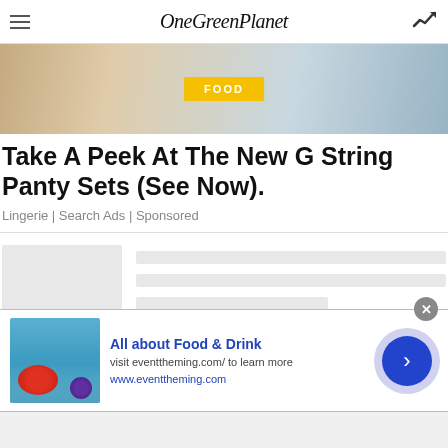OneGreenPlanet
[Figure (photo): Hero image of a blonde woman with a yellow FOOD badge overlay]
Take A Peek At The New G String Panty Sets (See Now).
Lingerie | Search Ads | Sponsored
[Figure (other): Loading placeholder card with grey image and grey line placeholders]
[Figure (photo): Ad banner: food and wine photo with text All about Food & Drink, visit eventtheming.com/ to learn more, www.eventtheming.com]